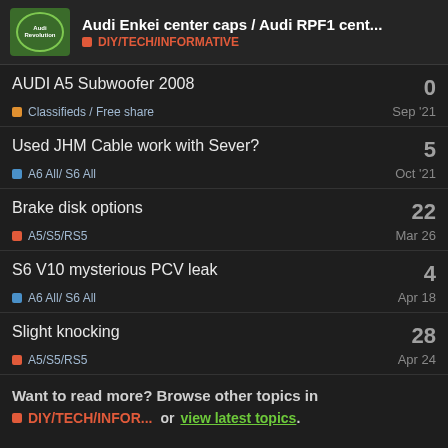Audi Enkei center caps / Audi RPF1 cent... DIY/TECH/INFORMATIVE
AUDI A5 Subwoofer 2008 | 0 | Classifieds / Free share | Sep '21
Used JHM Cable work with Sever? | 5 | A6 All/ S6 All | Oct '21
Brake disk options | 22 | A5/S5/RS5 | Mar 26
S6 V10 mysterious PCV leak | 4 | A6 All/ S6 All | Apr 18
Slight knocking | 28 | A5/S5/RS5 | Apr 24
Want to read more? Browse other topics in DIY/TECH/INFOR... or view latest topics.